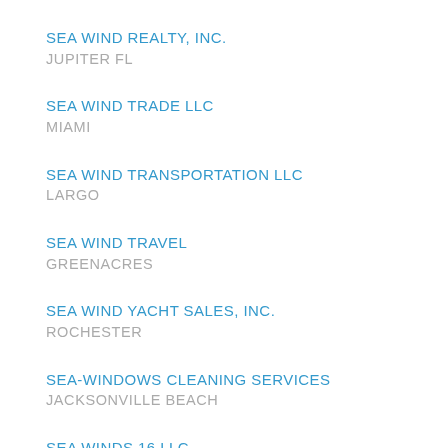SEA WIND REALTY, INC.
JUPITER FL
SEA WIND TRADE LLC
MIAMI
SEA WIND TRANSPORTATION LLC
LARGO
SEA WIND TRAVEL
GREENACRES
SEA WIND YACHT SALES, INC.
ROCHESTER
SEA-WINDOWS CLEANING SERVICES
JACKSONVILLE BEACH
SEA WINDS 16 LLC
ST. AUGUSTINE BEACH